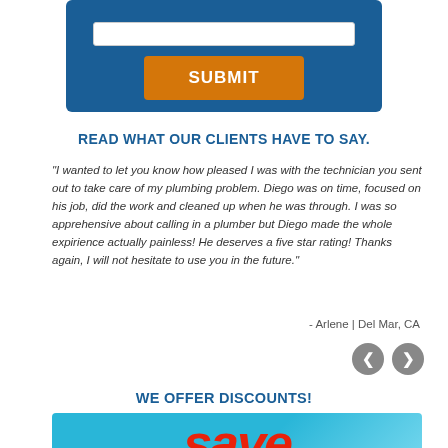[Figure (screenshot): Blue form area with white input field and orange SUBMIT button]
READ WHAT OUR CLIENTS HAVE TO SAY.
"I wanted to let you know how pleased I was with the technician you sent out to take care of my plumbing problem. Diego was on time, focused on his job, did the work and cleaned up when he was through. I was so apprehensive about calling in a plumber but Diego made the whole expirience actually painless! He deserves a five star rating! Thanks again, I will not hesitate to use you in the future."
- Arlene | Del Mar, CA
WE OFFER DISCOUNTS!
[Figure (photo): Light blue promotional banner with large red italic 'save' text]